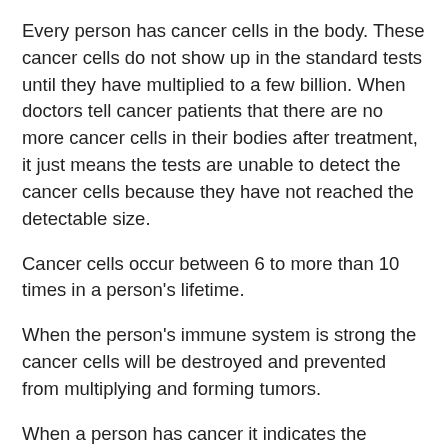Every person has cancer cells in the body. These cancer cells do not show up in the standard tests until they have multiplied to a few billion. When doctors tell cancer patients that there are no more cancer cells in their bodies after treatment, it just means the tests are unable to detect the cancer cells because they have not reached the detectable size.
Cancer cells occur between 6 to more than 10 times in a person's lifetime.
When the person's immune system is strong the cancer cells will be destroyed and prevented from multiplying and forming tumors.
When a person has cancer it indicates the person has nutritional deficiencies. These could be due to genetic, but also to environmental, food and lifestyle factors.
To overcome the multiple nutritional deficiencies, changing diet to eat more adequately and healthy, 4-5 times/day and by